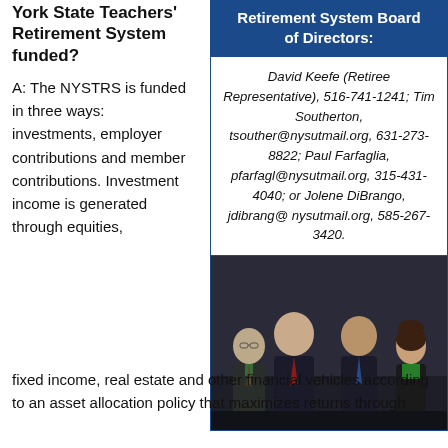York State Teachers' Retirement System funded?
A: The NYSTRS is funded in three ways: investments, employer contributions and member contributions. Investment income is generated through equities, fixed income, real estate and other financial vehicles according to an asset allocation policy that maximizes returns through
Retirement System Board of Directors:
David Keefe (Retiree Representative), 516-741-1241; Tim Southerton, tsouther@nysutmail.org, 631-273-8822; Paul Farfaglia, pfarfagl@nysutmail.org, 315-431-4040; or Jolene DiBrango, jdibrang@nysutmail.org, 585-267-3420.
[Figure (photo): Group photo of four people standing together, three men in suits and one woman, posed in front of a dark background.]